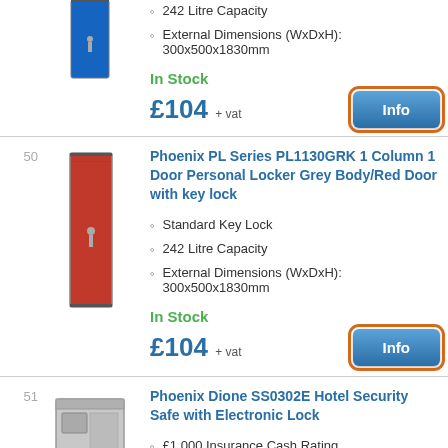[Figure (photo): Blue locker column (top partial, cut off)]
242 Litre Capacity
External Dimensions (WxDxH): 300x500x1830mm
In Stock
£104 + vat
Info
50
[Figure (photo): Red locker column (1 column 1 door personal locker, grey body with red door)]
Phoenix PL Series PL1130GRK 1 Column 1 Door Personal Locker Grey Body/Red Door with key lock
Standard Key Lock
242 Litre Capacity
External Dimensions (WxDxH): 300x500x1830mm
In Stock
£104 + vat
Info
51
[Figure (photo): Grey hotel security safe (partial view at bottom)]
Phoenix Dione SS0302E Hotel Security Safe with Electronic Lock
£1,000 Insurance Cash Rating